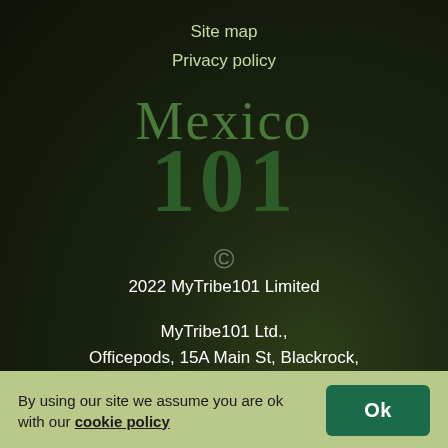Site map
Privacy policy
[Figure (logo): Mexico 101 logo — text 'Mexico' in green serif above large '101' in dark green serif]
© 2022 MyTribe101 Limited
MyTribe101 Ltd.,
Officepods, 15A Main St, Blackrock,
Co. Dublin, A94 T8P8, Ireland.
Company number: 482158
By using our site we assume you are ok with our cookie policy  Ok